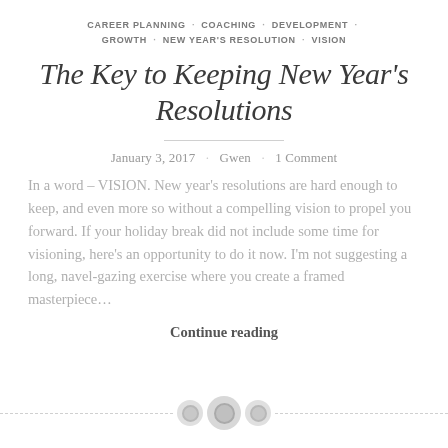CAREER PLANNING · COACHING · DEVELOPMENT · GROWTH · NEW YEAR'S RESOLUTION · VISION
The Key to Keeping New Year's Resolutions
January 3, 2017 · Gwen · 1 Comment
In a word – VISION. New year's resolutions are hard enough to keep, and even more so without a compelling vision to propel you forward. If your holiday break did not include some time for visioning, here's an opportunity to do it now. I'm not suggesting a long, navel-gazing exercise where you create a framed masterpiece…
Continue reading